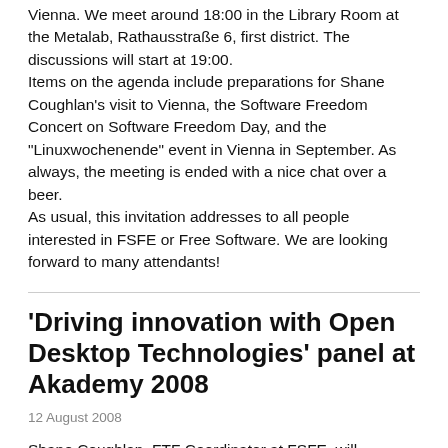Vienna. We meet around 18:00 in the Library Room at the Metalab, Rathausstraße 6, first district. The discussions will start at 19:00.
Items on the agenda include preparations for Shane Coughlan's visit to Vienna, the Software Freedom Concert on Software Freedom Day, and the "Linuxwochenende" event in Vienna in September. As always, the meeting is ended with a nice chat over a beer.
As usual, this invitation addresses to all people interested in FSFE or Free Software. We are looking forward to many attendants!
'Driving innovation with Open Desktop Technologies' panel at Akademy 2008
12 August 2008
Shane Coughlan, FTF Coordinator at FSFE, will participate in the 'Driving innovation with Open Desktop Technologies' at Akademy 2008 on Tuesday, 12 August